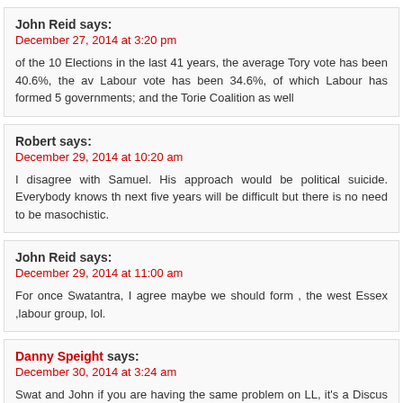John Reid says:
December 27, 2014 at 3:20 pm
of the 10 Elections in the last 41 years, the average Tory vote has been 40.6%, the av Labour vote has been 34.6%, of which Labour has formed 5 governments; and the Torie Coalition as well
Robert says:
December 29, 2014 at 10:20 am
I disagree with Samuel. His approach would be political suicide. Everybody knows th next five years will be difficult but there is no need to be masochistic.
John Reid says:
December 29, 2014 at 11:00 am
For once Swatantra, I agree maybe we should form , the west Essex ,labour group, lol.
Danny Speight says:
December 30, 2014 at 3:24 am
Swat and John if you are having the same problem on LL, it's a Discus change t probably hurting you rather than the LL admin. They changed the Discus login parame will have to get a new ID through Discus.